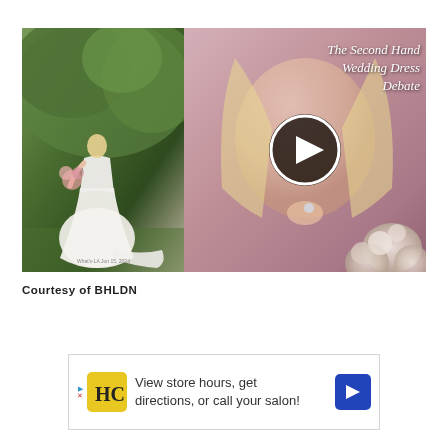[Figure (photo): Composite image: left half shows a bride in a white ball gown wedding dress outdoors with green trees background; right half shows a video thumbnail of a blonde woman with text 'The Second Hand Wedding Dress Debate' and a play button overlay in the center]
Courtesy of BHLDN
[Figure (other): Advertisement banner: HC logo in yellow square, text 'View store hours, get directions, or call your salon!' with blue navigation arrow icon on right]